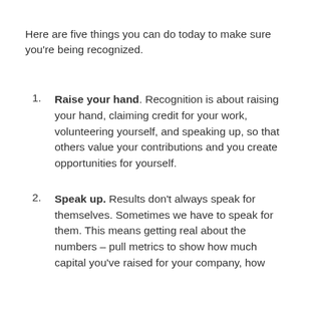Here are five things you can do today to make sure you're being recognized.
Raise your hand. Recognition is about raising your hand, claiming credit for your work, volunteering yourself, and speaking up, so that others value your contributions and you create opportunities for yourself.
Speak up. Results don't always speak for themselves. Sometimes we have to speak for them. This means getting real about the numbers – pull metrics to show how much capital you've raised for your company, how